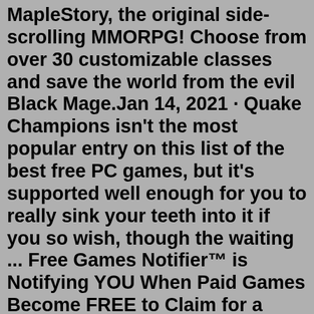MapleStory, the original side-scrolling MMORPG! Choose from over 30 customizable classes and save the world from the evil Black Mage.Jan 14, 2021 · Quake Champions isn't the most popular entry on this list of the best free PC games, but it's supported well enough for you to really sink your teeth into it if you so wish, though the waiting ... Free Games Notifier™ is Notifying YOU When Paid Games Become FREE to Claim for a Limited Time. We also have Announcement Channels, Reddit Game Deals, and we make Weekly Game Keys/Nitro Giveaways.REDDIT COMMUNITY. Couldn't find an answer to your question on our FAQs? Ask the Reddit community. *reddit is not managed by usComplete list of all new dress up games, girl games and character creators. Anime and fantasy doll makers and dress ups for adults and teenagers ~. Doll Divine was created as a safe place for people of all ages to explore their creative side. I curate a beautiful collection of dress up games, doll makers...Reddit-coordinated 'short squeeze'. The rise in GameStop